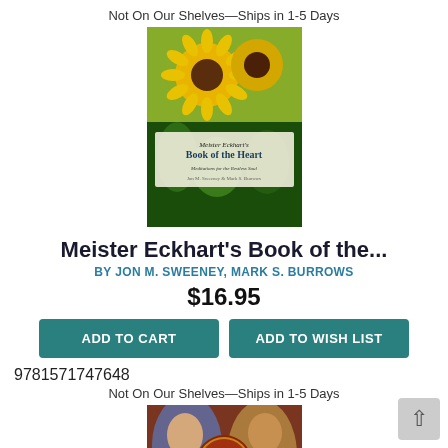Not On Our Shelves—Ships in 1-5 Days
[Figure (photo): Book cover of Meister Eckhart's Book of the Heart with sunflowers and green foliage design]
Meister Eckhart's Book of the...
BY JON M. SWEENEY, MARK S. BURROWS
$16.95
ADD TO CART
ADD TO WISH LIST
9781571747648
Not On Our Shelves—Ships in 1-5 Days
[Figure (photo): Book cover of Jesus, Buddha, Krishna & Lao Tzu: The Parallel Sayings by Richard Hooper, showing artistic portraits of religious figures]